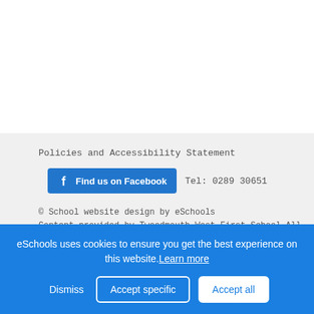Policies and Accessibility Statement
Find us on Facebook   Tel: 0289 30651
© School website design by eSchools Content provided by Tweedmouth West First School All rights reserved 2022
eSchools uses cookies to ensure you get the best experience on this website. Learn more
Dismiss   Accept specific   Accept all